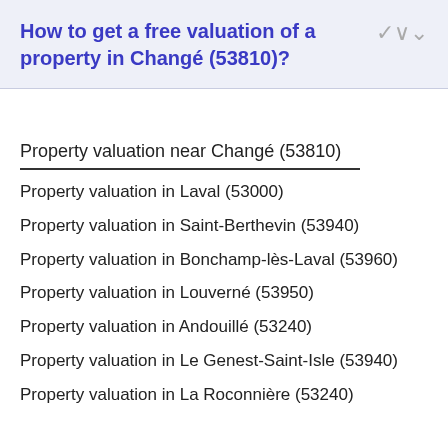How to get a free valuation of a property in Changé (53810)?
Property valuation near Changé (53810)
Property valuation in Laval (53000)
Property valuation in Saint-Berthevin (53940)
Property valuation in Bonchamp-lès-Laval (53960)
Property valuation in Louverné (53950)
Property valuation in Andouillé (53240)
Property valuation in Le Genest-Saint-Isle (53940)
Property valuation in La Roconnière (53240)